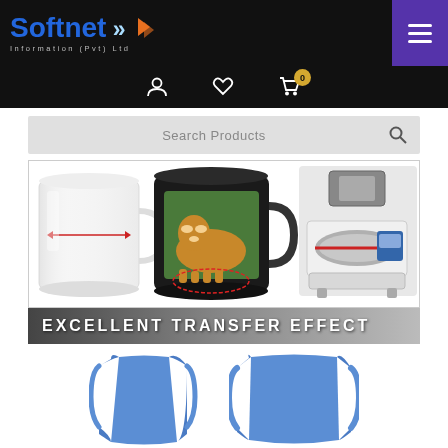Softnet Information (Pvt) Ltd
[Figure (screenshot): E-commerce website header with Softnet Information (Pvt) Ltd logo, navigation icons (user, wishlist, cart with 0 badge), search bar, product image showing mugs and heat press machine, EXCELLENT TRANSFER EFFECT banner, and two blue mug wrap mat accessories.]